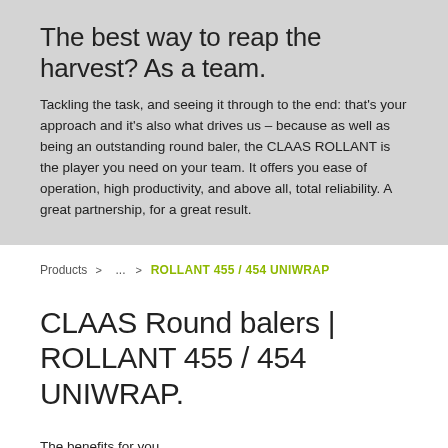The best way to reap the harvest? As a team.
Tackling the task, and seeing it through to the end: that's your approach and it's also what drives us – because as well as being an outstanding round baler, the CLAAS ROLLANT is the player you need on your team. It offers you ease of operation, high productivity, and above all, total reliability. A great partnership, for a great result.
Products > ... > ROLLANT 455 / 454 UNIWRAP
CLAAS Round balers | ROLLANT 455 / 454 UNIWRAP.
The benefits for you.